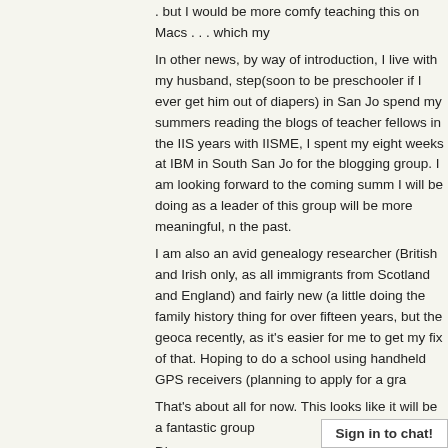. but I would be more comfy teaching this on Macs . . . which my
In other news, by way of introduction, I live with my husband, step(soon to be preschooler if I ever get him out of diapers) in San Jo spend my summers reading the blogs of teacher fellows in the IIS years with IISME, I spent my eight weeks at IBM in South San Jo for the blogging group. I am looking forward to the coming summ I will be doing as a leader of this group will be more meaningful, n the past.
I am also an avid genealogy researcher (British and Irish only, as all immigrants from Scotland and England) and fairly new (a little doing the family history thing for over fifteen years, but the geoca recently, as it's easier for me to get my fix of that. Hoping to do a school using handheld GPS receivers (planning to apply for a gra
That's about all for now. This looks like it will be a fantastic group
Diane
► Reply
Reply by Ley Pickup on May 25, 2007 at 3:17am
Hi I'm Lesley and currently, but not for much longer, teach at a gi classroom teacher for about 20 years before retraining as a teach technology and before long I was
Sign in to chat!